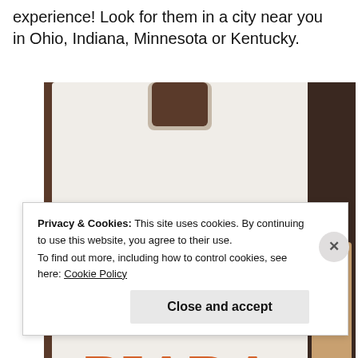experience! Look for them in a city near you in Ohio, Indiana, Minnesota or Kentucky.
[Figure (photo): A white paper bag with the orange logo 'PIADA ITALIAN STREET FOOD' on it, sitting on a table with a plate of food visible in the background.]
Privacy & Cookies: This site uses cookies. By continuing to use this website, you agree to their use.
To find out more, including how to control cookies, see here: Cookie Policy
Close and accept